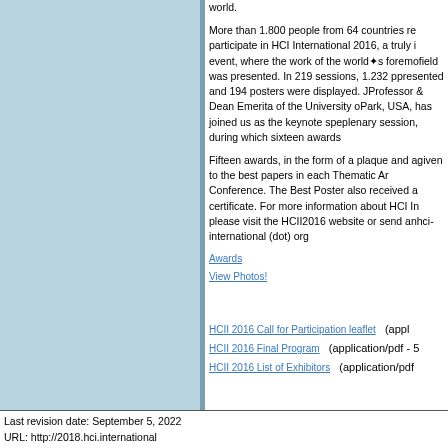world.
More than 1.800 people from 64 countries re... participate in HCI International 2016, a truly i... event, where the work of the world❖s foremo... field was presented. In 219 sessions, 1.232 p... presented and 194 posters were displayed. J... Professor & Dean Emerita of the University o... Park, USA, has joined us as the keynote spe... plenary session, during which sixteen awards...
Fifteen awards, in the form of a plaque and a... given to the best papers in each Thematic Ar... Conference. The Best Poster also received a... certificate. For more information about HCI In... please visit the HCII2016 website or send an... hci-international (dot) org
Awards
View Photos!
HCII 2016 Call for Participation leaflet   (appl... HCII 2016 Final Program   (application/pdf - 5... HCII 2016 List of Exhibitors   (application/pdf
Last revision date: September 5, 2022
URL: http://2018.hci.international